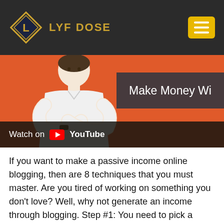LYF DOSE
[Figure (screenshot): YouTube video thumbnail showing a man in a white shirt with arms crossed against an orange background, with text 'Make Money Wi...' and a 'Watch on YouTube' bar at the bottom]
If you want to make a passive income online blogging, then are 8 techniques that you must master. Are you tired of working on something you don't love? Well, why not generate an income through blogging. Step #1: You need to pick a niche. The niche should be something you are passionate about or else you will eventually quit. Blogging doesn't make you a passive income fast,